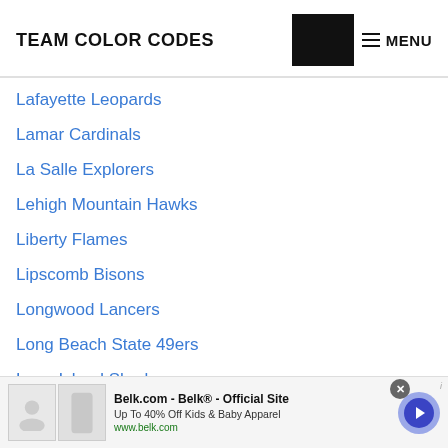TEAM COLOR CODES
Lafayette Leopards
Lamar Cardinals
La Salle Explorers
Lehigh Mountain Hawks
Liberty Flames
Lipscomb Bisons
Longwood Lancers
Long Beach State 49ers
Long Island Sharks
Louisiana-Monroe Warhawks
Belk.com - Belk® - Official Site | Up To 40% Off Kids & Baby Apparel | www.belk.com